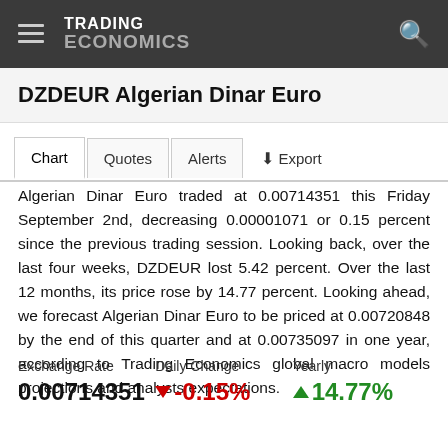TRADING ECONOMICS
DZDEUR Algerian Dinar Euro
Chart   Quotes   Alerts   Export
Algerian Dinar Euro traded at 0.00714351 this Friday September 2nd, decreasing 0.00001071 or 0.15 percent since the previous trading session. Looking back, over the last four weeks, DZDEUR lost 5.42 percent. Over the last 12 months, its price rose by 14.77 percent. Looking ahead, we forecast Algerian Dinar Euro to be priced at 0.00720848 by the end of this quarter and at 0.00735097 in one year, according to Trading Economics global macro models projections and analysts expectations.
Exchange Rate: 0.00714351, Daily Change: -0.15%, Yearly: 14.77%